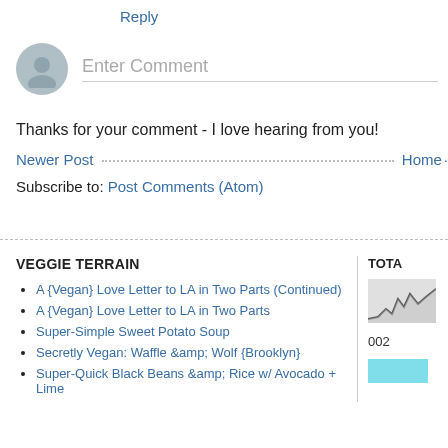Reply
[Figure (other): Comment input area with avatar icon and 'Enter Comment' placeholder text]
Thanks for your comment - I love hearing from you!
Newer Post · · · · · · · · · · · · · · · · · Home ·
Subscribe to: Post Comments (Atom)
VEGGIE TERRAIN
A {Vegan} Love Letter to LA in Two Parts (Continued)
A {Vegan} Love Letter to LA in Two Parts
Super-Simple Sweet Potato Soup
Secretly Vegan: Waffle &amp; Wolf {Brooklyn}
Super-Quick Black Beans &amp; Rice w/ Avocado + Lime
TOTA
[Figure (other): Small chart/graph thumbnail image]
002
[Figure (other): Cyan/teal colored box]